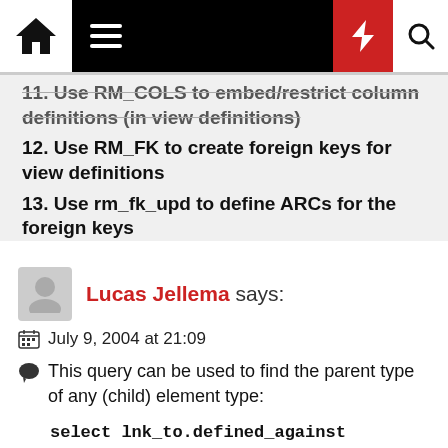Navigation header with home, menu, bolt, and search icons
11. Use RM_COLS to embed/restrict column definitions (in view definitions)
12. Use RM_FK to create foreign keys for view definitions
13. Use rm_fk_upd to define ARCs for the foreign keys
Lucas Jellema says:
July 9, 2004 at 21:09
This query can be used to find the parent type of any (child) element type:
select lnk_to.defined_against parent_type_id